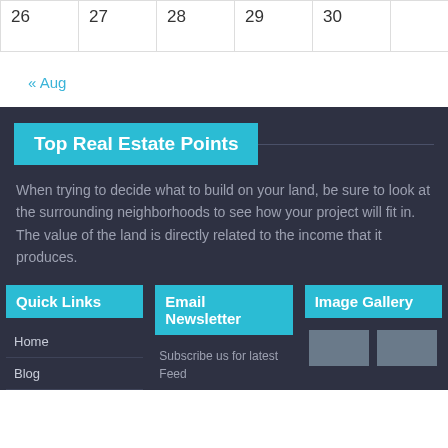| 26 | 27 | 28 | 29 | 30 |  |
| --- | --- | --- | --- | --- | --- |
« Aug
Top Real Estate Points
When trying to decide what to build on your land, be sure to look at the surrounding neighborhoods to see how your project will fit in. The value of the land is directly related to the income that it produces.
Quick Links
Email Newsletter
Image Gallery
Home
Blog
Subscribe us for latest Feed